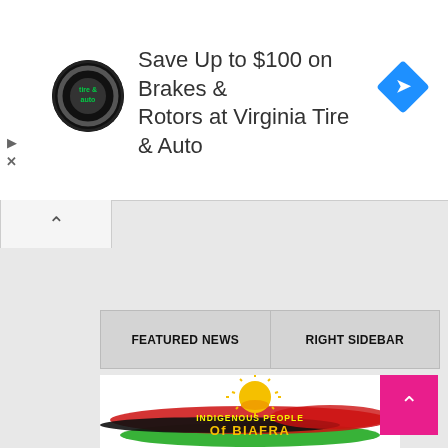[Figure (screenshot): Advertisement banner for Virginia Tire & Auto showing circular logo, text 'Save Up to $100 on Brakes & Rotors at Virginia Tire & Auto', and blue diamond navigation icon]
FEATURED NEWS
RIGHT SIDEBAR
[Figure (logo): Indigenous People of Biafra (IPOB) logo with sun rising over colorful red, black, and green brushstrokes with text 'INDIGENOUS PEOPLE Of BIAFRA']